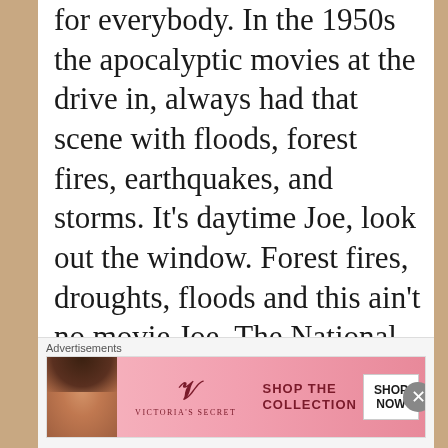for everybody. In the 1950s the apocalyptic movies at the drive in, always had that scene with floods, forest fires, earthquakes, and storms. It’s daytime Joe, look out the window. Forest fires, droughts, floods and this ain’t no movie Joe. The National Weather Service predicts a
Advertisements
[Figure (infographic): Victoria's Secret advertisement banner with a woman's photo on the left, Victoria's Secret logo in center, text 'SHOP THE COLLECTION' and a 'SHOP NOW' button on the right against a pink gradient background.]